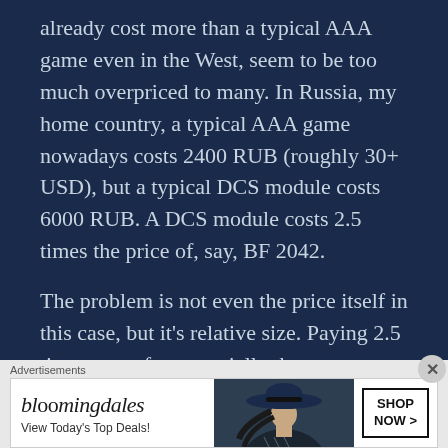already cost more than a typical AAA game even in the West, seem to be too much overpriced to many. In Russia, my home country, a typical AAA game nowadays costs 2400 RUB (roughly 30+ USD), but a typical DCS module costs 6000 RUB. A DCS module costs 2.5 times the price of, say, BF 2042.
The problem is not even the price itself in this case, but it's relative size. Paying 2.5 times more for essentially the same type of
[Figure (other): Bloomingdale's advertisement banner with logo, tagline 'View Today's Top Deals!', a woman in a large hat, and a 'SHOP NOW >' call-to-action button]